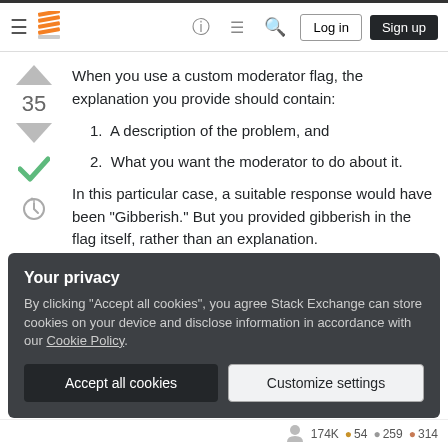Stack Exchange navigation header with hamburger menu, logo, help, chat, search icons, Log in and Sign up buttons
When you use a custom moderator flag, the explanation you provide should contain:
1. A description of the problem, and
2. What you want the moderator to do about it.
In this particular case, a suitable response would have been "Gibberish." But you provided gibberish in the flag itself, rather than an explanation.
I have seen a number of extremely humorous
Your privacy
By clicking "Accept all cookies", you agree Stack Exchange can store cookies on your device and disclose information in accordance with our Cookie Policy.
Accept all cookies  Customize settings
174K  54  259  314